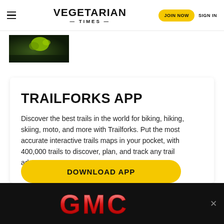VEGETARIAN TIMES | JOIN NOW | SIGN IN
[Figure (photo): Dark green leafy vegetable photo thumbnail on left side below header]
TRAILFORKS APP
Discover the best trails in the world for biking, hiking, skiing, moto, and more with Trailforks. Put the most accurate interactive trails maps in your pocket, with 400,000 trails to discover, plan, and track any trail adventure.
DOWNLOAD APP
[Figure (logo): GMC logo on black banner advertisement at the bottom of the page]